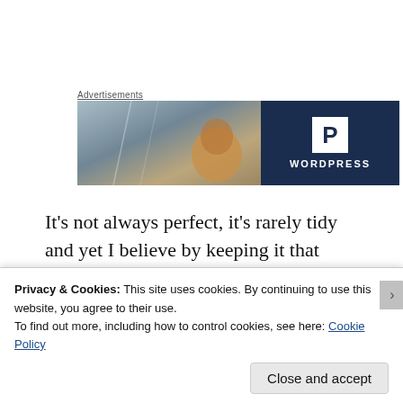Advertisements
[Figure (logo): WordPress advertisement banner with a person photo on the left and dark navy blue background on the right showing a 'P' logo and 'WORDPRESS' text]
It’s not always perfect, it’s rarely tidy and yet I believe by keeping it that simple that I am
Privacy & Cookies: This site uses cookies. By continuing to use this website, you agree to their use.
To find out more, including how to control cookies, see here: Cookie Policy
Close and accept